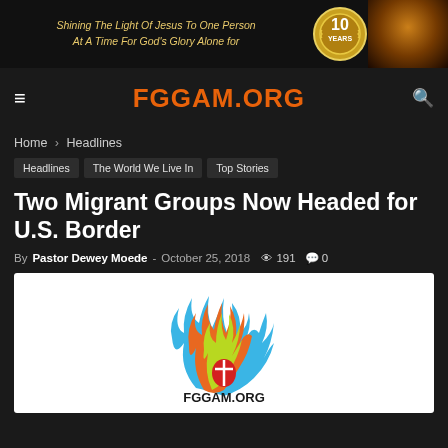[Figure (infographic): Banner ad: 'Shining The Light Of Jesus To One Person At A Time For God's Glory Alone for' with a 10 Years medal logo and bokeh light background]
FGGAM.ORG
Home › Headlines
Headlines
The World We Live In
Top Stories
Two Migrant Groups Now Headed for U.S. Border
By Pastor Dewey Moede - October 25, 2018  191  0
[Figure (logo): FGGAM.ORG logo: colorful flame with a cross, with text FGGAM.ORG below]